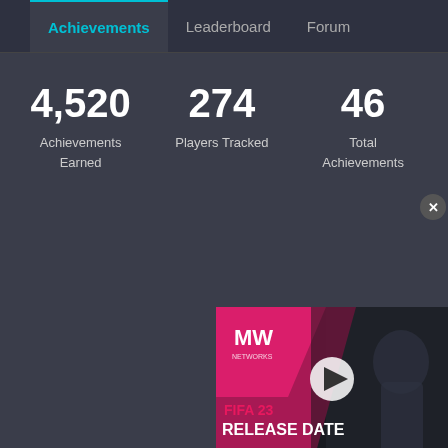Achievements | Leaderboard | Forum
4,520 Achievements Earned
274 Players Tracked
46 Total Achievements
[Figure (screenshot): Video thumbnail for FIFA 23 Release Date from MW Networks, showing a soccer player looking up with a play button overlay. Text reads: FIFA 23 RELEASE DATE]